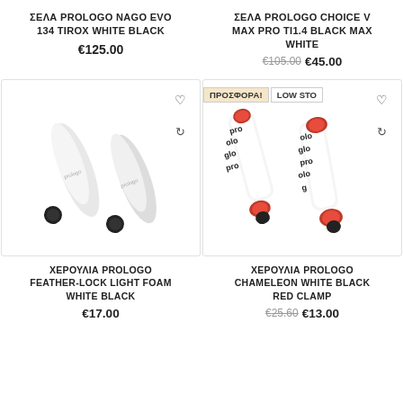ΣΕΛΑ PROLOGO NAGO EVO 134 TIROX WHITE BLACK
€125.00
ΣΕΛΑ PROLOGO CHOICE V MAX PRO TI1.4 BLACK MAX WHITE
€105.00  €45.00
[Figure (photo): White bicycle handlebar grips with black end caps, Prologo brand]
[Figure (photo): White bicycle bar tape grips with red clamps and Prologo logo pattern, with ΠΡΟΣΦΟΡΑ! and LOW STOCK badges]
ΧΕΡΟΥΛΙΑ PROLOGO FEATHER-LOCK LIGHT FOAM WHITE BLACK
€17.00
ΧΕΡΟΥΛΙΑ PROLOGO CHAMELEON WHITE BLACK RED CLAMP
€25.60  €13.00